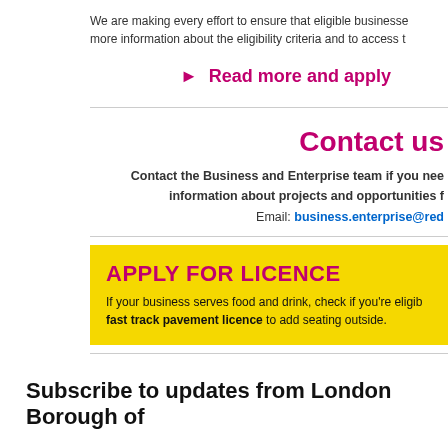We are making every effort to ensure that eligible businesses more information about the eligibility criteria and to access t
► Read more and apply
Contact us
Contact the Business and Enterprise team if you need information about projects and opportunities f Email: business.enterprise@red
[Figure (infographic): Yellow banner with magenta heading 'APPLY FOR LICENCE' and text: If your business serves food and drink, check if you're eligible for a fast track pavement licence to add seating outside.]
Subscribe to updates from London Borough of